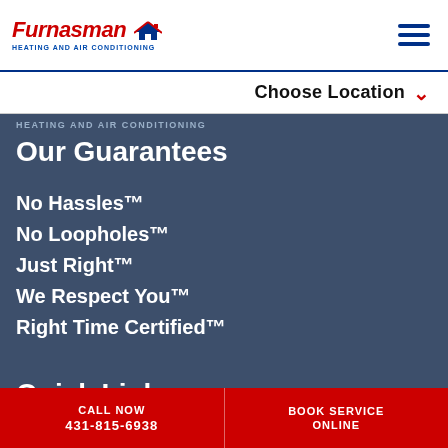[Figure (logo): Furnasman Heating and Air Conditioning logo with red italic text and house icon]
Choose Location
HEATING AND AIR CONDITIONING
Our Guarantees
No Hassles™
No Loopholes™
Just Right™
We Respect You™
Right Time Certified™
Quick Links
CALL NOW
431-815-6938
BOOK SERVICE ONLINE